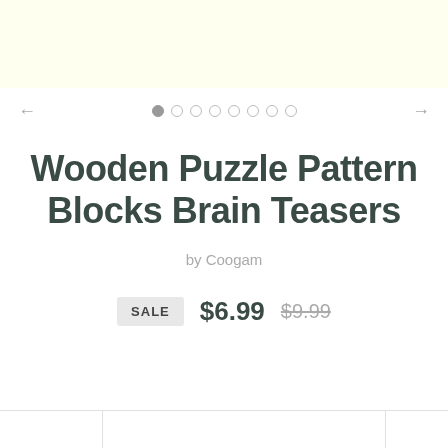[Figure (photo): Top banner area with light yellow background, partial product image visible at top right corner]
Wooden Puzzle Pattern Blocks Brain Teasers
by Coogam
SALE $6.99 $9.99